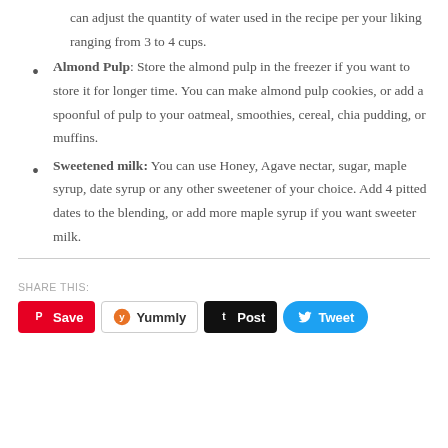can adjust the quantity of water used in the recipe per your liking ranging from 3 to 4 cups.
Almond Pulp: Store the almond pulp in the freezer if you want to store it for longer time. You can make almond pulp cookies, or add a spoonful of pulp to your oatmeal, smoothies, cereal, chia pudding, or muffins.
Sweetened milk: You can use Honey, Agave nectar, sugar, maple syrup, date syrup or any other sweetener of your choice. Add 4 pitted dates to the blending, or add more maple syrup if you want sweeter milk.
SHARE THIS:
[Figure (other): Social share buttons: Save (Pinterest), Yummly, Post (Tumblr), Tweet (Twitter)]